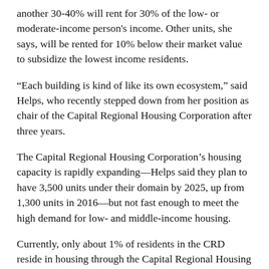another 30-40% will rent for 30% of the low- or moderate-income person's income. Other units, she says, will be rented for 10% below their market value to subsidize the lowest income residents.
“Each building is kind of like its own ecosystem,” said Helps, who recently stepped down from her position as chair of the Capital Regional Housing Corporation after three years.
The Capital Regional Housing Corporation’s housing capacity is rapidly expanding—Helps said they plan to have 3,500 units under their domain by 2025, up from 1,300 units in 2016—but not fast enough to meet the high demand for low- and middle-income housing.
Currently, only about 1% of residents in the CRD reside in housing through the Capital Regional Housing Corporation, a far cry from the 25% of Vienna residents who live in publicly